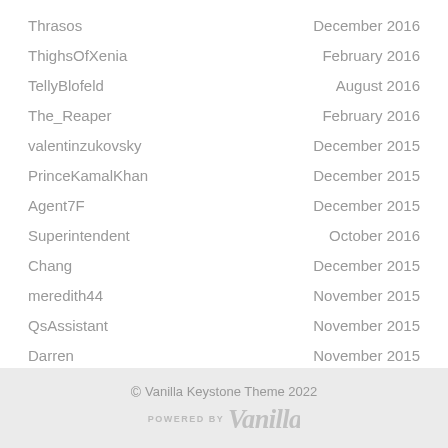Thrasos — December 2016
ThighsOfXenia — February 2016
TellyBlofeld — August 2016
The_Reaper — February 2016
valentinzukovsky — December 2015
PrinceKamalKhan — December 2015
Agent7F — December 2015
Superintendent — October 2016
Chang — December 2015
meredith44 — November 2015
QsAssistant — November 2015
Darren — November 2015
© Vanilla Keystone Theme 2022 POWERED BY Vanilla